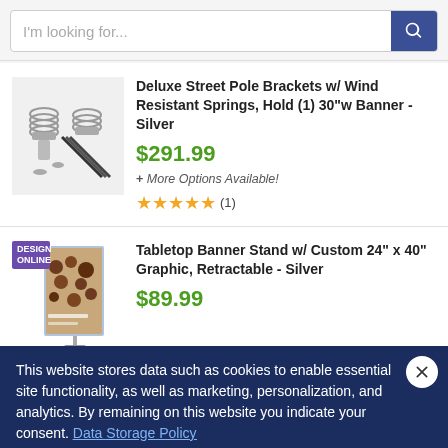[Figure (screenshot): E-commerce website screenshot showing a search bar and product listings with a cookie consent banner overlay]
I'm looking for...
Deluxe Street Pole Brackets w/ Wind Resistant Springs, Hold (1) 30"w Banner - Silver
$291.99
+ More Options Available!
(1)
Tabletop Banner Stand w/ Custom 24" x 40" Graphic, Retractable - Silver
$89.99
This website stores data such as cookies to enable essential site functionality, as well as marketing, personalization, and analytics. By remaining on this website you indicate your consent. Data Storage Policy